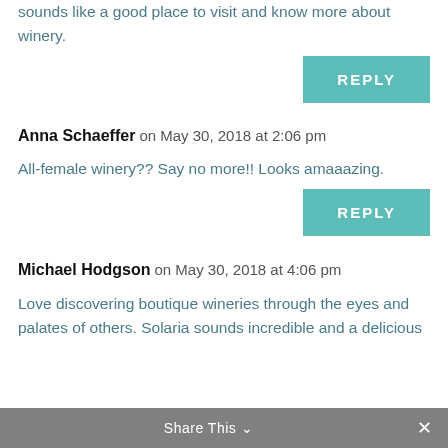sounds like a good place to visit and know more about winery.
REPLY
Anna Schaeffer on May 30, 2018 at 2:06 pm
All-female winery?? Say no more!! Looks amaaazing.
REPLY
Michael Hodgson on May 30, 2018 at 4:06 pm
Love discovering boutique wineries through the eyes and palates of others. Solaria sounds incredible and a delicious
Share This ∨  ✕